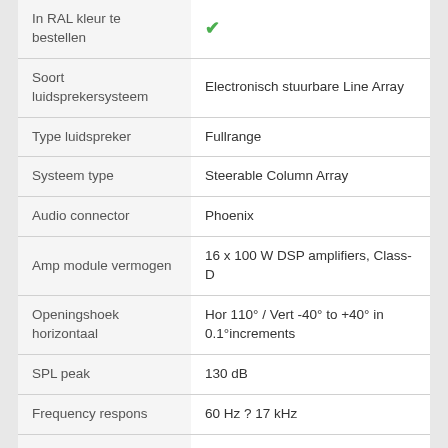| Eigenschap | Waarde |
| --- | --- |
| In RAL kleur te bestellen | ✓ |
| Soort luidsprekersysteem | Electronisch stuurbare Line Array |
| Type luidspreker | Fullrange |
| Systeem type | Steerable Column Array |
| Audio connector | Phoenix |
| Amp module vermogen | 16 x 100 W DSP amplifiers, Class-D |
| Openingshoek horizontaal | Hor 110° / Vert -40° to +40° in 0.1°increments |
| SPL peak | 130 dB |
| Frequency respons | 60 Hz ? 17 kHz |
| Luidsprekerformaat Low | 16x4" |